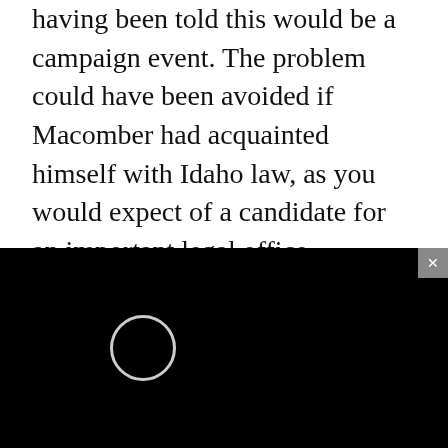having been told this would be a campaign event. The problem could have been avoided if Macomber had acquainted himself with Idaho law, as you would expect of a candidate for an important legal office.
McGeachin used the press conference to defend her decision to violate Idaho's public records law by refusing to release to the Idaho Press Clu[b documents] gathered by her in[vestigation. This] is understandable [if she doesn't want] anyone to know th[e contents, but] the comments stro[ngly suggest…]
[Figure (screenshot): A black video player overlay in the bottom-right corner of the screen. It has a close button (x) in the top-right corner, an orange 'CNRSS' label in the top-left, and a white loading circle spinner in the center on a black background.]